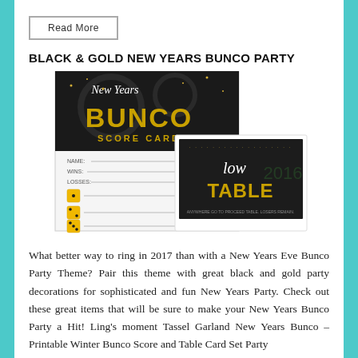Read More
BLACK & GOLD NEW YEARS BUNCO PARTY
[Figure (illustration): Black and gold New Years Bunco party score card and table card. The score card features 'New Years BUNCO' in gold glitter letters on a black background, with 'SCORE CARD' and lines for Name, Wins, Losses, Buncoes, and Mini-Buncoes, with yellow dice icons. Overlapping is a white table tent card showing 'low TABLE' in gold on black with '2016' watermark.]
What better way to ring in 2017 than with a New Years Eve Bunco Party Theme? Pair this theme with great black and gold party decorations for sophisticated and fun New Years Party. Check out these great items that will be sure to make your New Years Bunco Party a Hit! Ling's moment Tassel Garland New Years Bunco – Printable Winter Bunco Score and Table Card Set Party